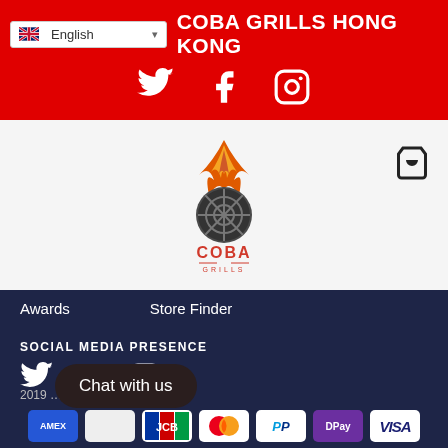COBA GRILLS HONG KONG
[Figure (logo): Coba Grills logo with flame and grill motif]
Awards    Store Finder
SOCIAL MEDIA PRESENCE
[Figure (infographic): Twitter, Facebook, Instagram social media icons in white on dark navy background]
2019 ... rights reserved
Chat with us
[Figure (infographic): Payment icons: Amex, JCB, Mastercard, PayPal, DPay, Visa]